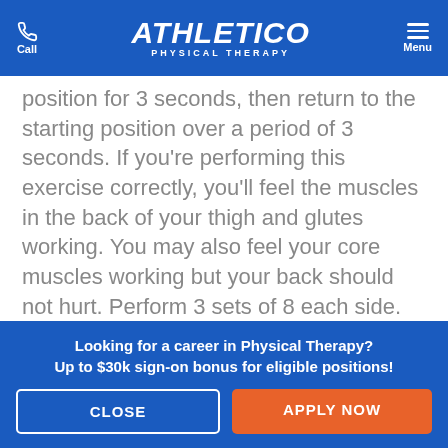Athletico Physical Therapy — Call | Menu
position for 3 seconds, then return to the starting position over a period of 3 seconds. If you're performing this exercise correctly, you'll feel the muscles in the back of your thigh and glutes working. You may also feel your core muscles working but your back should not hurt. Perform 3 sets of 8 each side.
3. Side Plank Clams
Looking for a career in Physical Therapy?
Up to $30k sign-on bonus for eligible positions!
CLOSE | APPLY NOW